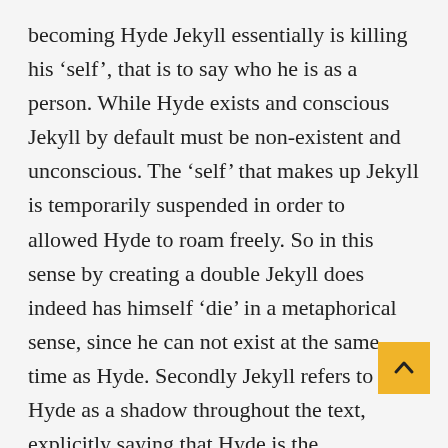becoming Hyde Jekyll essentially is killing his 'self', that is to say who he is as a person. While Hyde exists and conscious Jekyll by default must be non-existent and unconscious. The 'self' that makes up Jekyll is temporarily suspended in order to allowed Hyde to roam freely. So in this sense by creating a double Jekyll does indeed has himself 'die' in a metaphorical sense, since he can not exist at the same time as Hyde. Secondly Jekyll refers to Hyde as a shadow throughout the text, explicitly saying that Hyde is the representation of the evil that Jekyll has kept bottled up and under contr… Hyde is a shadow of Jekyll and as such is smaller and younger than Jekyll. He is an